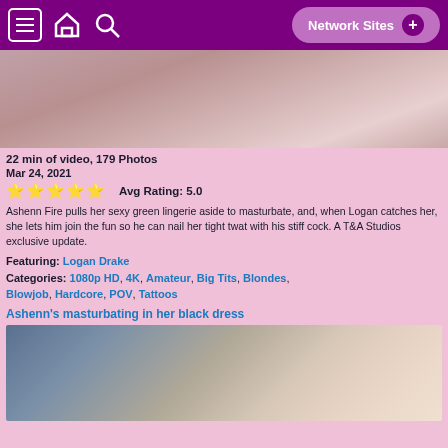Network Sites +
[Figure (photo): Close-up adult content photo at top of page]
22 min of video, 179 Photos
Mar 24, 2021
Avg Rating: 5.0
Ashenn Fire pulls her sexy green lingerie aside to masturbate, and, when Logan catches her, she lets him join the fun so he can nail her tight twat with his stiff cock. A T&A Studios exclusive update.
Featuring: Logan Drake
Categories: 1080p HD, 4K, Amateur, Big Tits, Blondes, Blowjob, Hardcore, POV, Tattoos
Ashenn's masturbating in her black dress
[Figure (photo): Adult content photo of blonde woman in black dress]